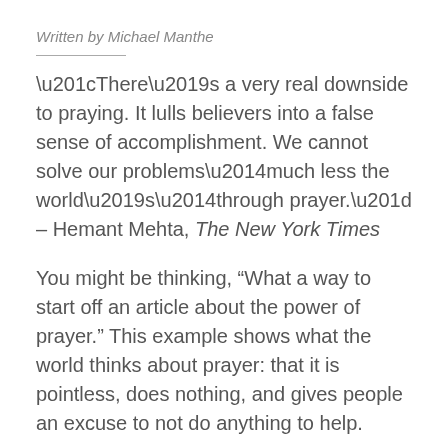Written by Michael Manthe
“There’s a very real downside to praying. It lulls believers into a false sense of accomplishment. We cannot solve our problems—much less the world’s—through prayer.” – Hemant Mehta, The New York Times
You might be thinking, “What a way to start off an article about the power of prayer.” This example shows what the world thinks about prayer: that it is pointless, does nothing, and gives people an excuse to not do anything to help.